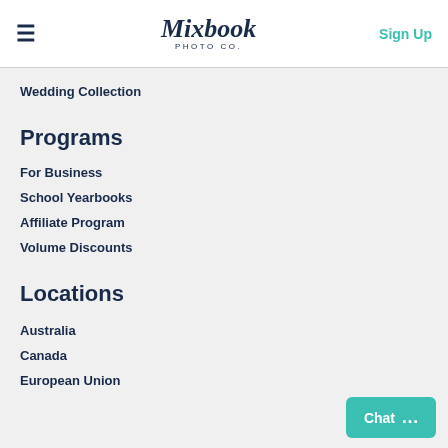≡ Mixbook PHOTO CO. Sign Up
Wedding Collection
Programs
For Business
School Yearbooks
Affiliate Program
Volume Discounts
Locations
Australia
Canada
European Union
Chat